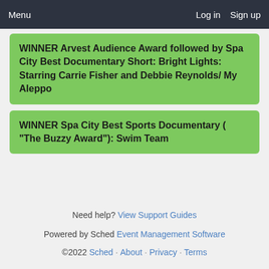Menu   Log in   Sign up
WINNER Arvest Audience Award followed by Spa City Best Documentary Short: Bright Lights: Starring Carrie Fisher and Debbie Reynolds/ My Aleppo
WINNER Spa City Best Sports Documentary ("The Buzzy Award"): Swim Team
Need help? View Support Guides
Powered by Sched Event Management Software
©2022 Sched · About · Privacy · Terms